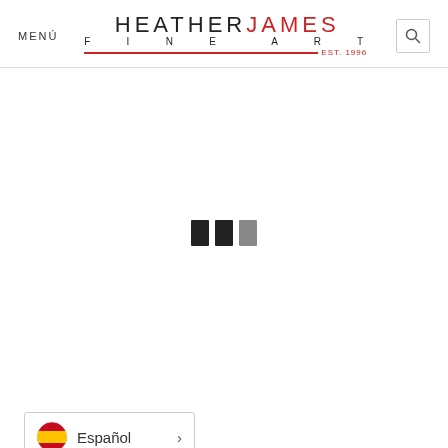MENÚ | HEATHER JAMES FINE ART EST. 1996
[Figure (other): Loading spinner with three dark rectangles (two black, one gray) centered on a white page body]
Español >